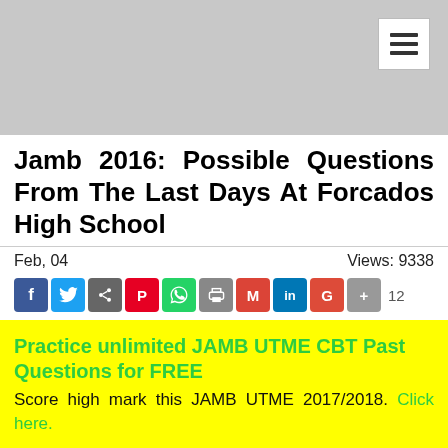[Figure (screenshot): Hamburger menu button (three horizontal lines) in white box, top right corner]
Jamb 2016: Possible Questions From The Last Days At Forcados High School
Feb, 04    Views: 9338
[Figure (infographic): Social media sharing icons row: Facebook, Twitter, Share, Pinterest, WhatsApp, Print, Gmail, LinkedIn, Google+, Plus. Share count: 12]
Practice unlimited JAMB UTME CBT Past Questions for FREE
Score high mark this JAMB UTME 2017/2018. Click here.